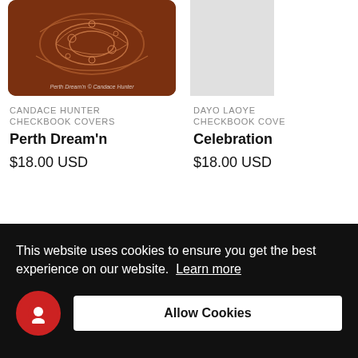[Figure (photo): Product image of Perth Dream'n checkbook cover, brown leather with Aboriginal art pattern]
CANDACE HUNTER
CHECKBOOK COVERS
Perth Dream'n
$18.00 USD
[Figure (photo): Partially visible product image (gray placeholder) for Celebration checkbook cover by Dayo Laoye]
DAYO LAOYE
CHECKBOOK COVE
Celebration
$18.00 USD
This website uses cookies to ensure you get the best experience on our website. Learn more
Allow Cookies